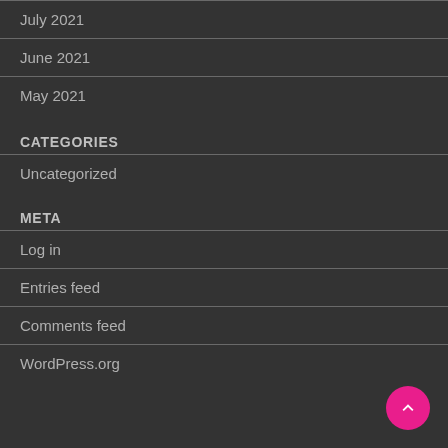July 2021
June 2021
May 2021
CATEGORIES
Uncategorized
META
Log in
Entries feed
Comments feed
WordPress.org